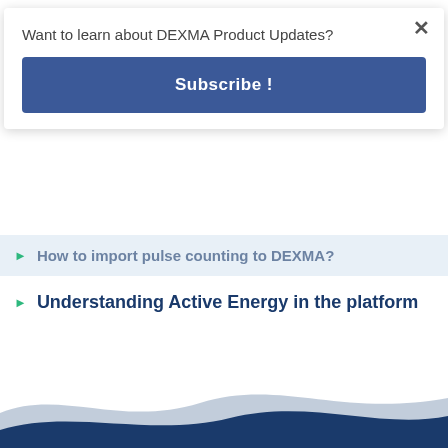Want to learn about DEXMA Product Updates?
Subscribe !
How to import pulse counting to DEXMA?
Understanding Active Energy in the platform
[Figure (illustration): Blue wave decoration at bottom of page]